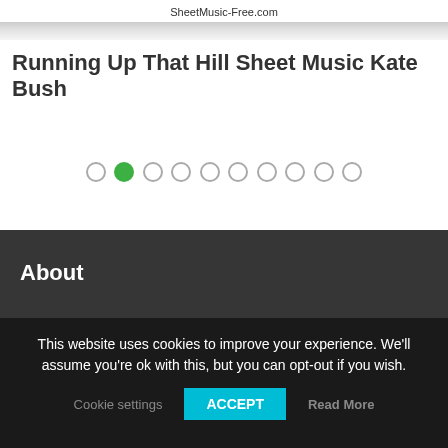SheetMusic-Free.com
Running Up That Hill Sheet Music Kate Bush
[Figure (other): Pagination dots: 10 circles, second one filled green indicating current page 2 of 10]
About
This website uses cookies to improve your experience. We'll assume you're ok with this, but you can opt-out if you wish.
Cookie settings  ACCEPT  Read More